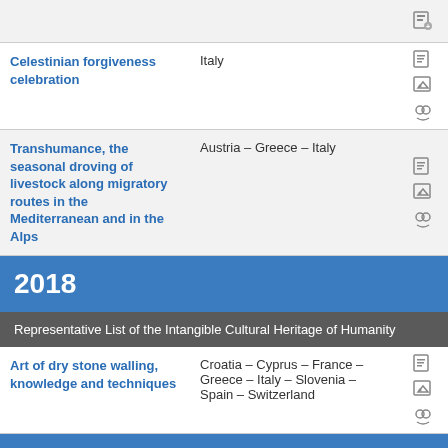| Name | Country | Icons |
| --- | --- | --- |
|  |  |  |
| Celestinian forgiveness celebration | Italy | icons |
| Transhumance, the seasonal droving of livestock along migratory routes in the Mediterranean and in the Alps | Austria – Greece – Italy | icons |
2018
Representative List of the Intangible Cultural Heritage of Humanity
| Name | Country | Icons |
| --- | --- | --- |
| Art of dry stone walling, knowledge and techniques | Croatia – Cyprus – France – Greece – Italy – Slovenia – Spain – Switzerland | icons |
2017
Representative List of the Intangible Cultural Heritage of Humanity